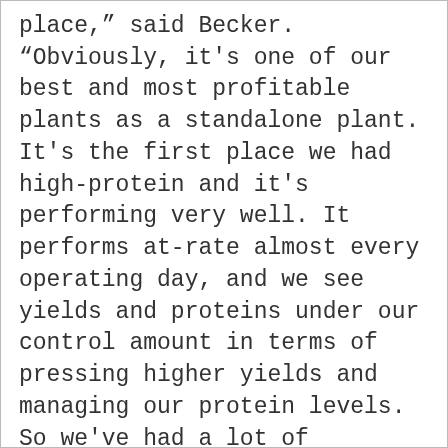place," said Becker. "Obviously, it's one of our best and most profitable plants as a standalone plant. It's the first place we had high-protein and it's performing very well. It performs at-rate almost every operating day, and we see yields and proteins under our control amount in terms of pressing higher yields and managing our protein levels. So we've had a lot of learning there. We have a great operating staff that is really ready for new technologies now." SCIA Executive Vice President Gregg Connell says the